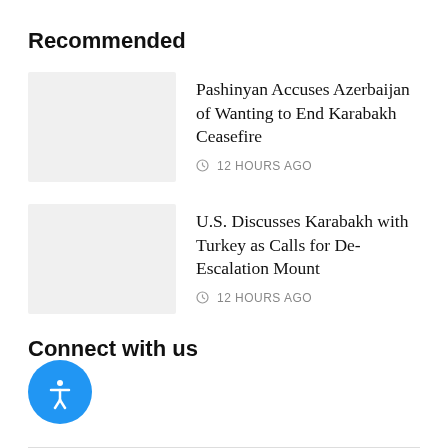Recommended
Pashinyan Accuses Azerbaijan of Wanting to End Karabakh Ceasefire
⊙ 12 HOURS AGO
U.S. Discusses Karabakh with Turkey as Calls for De-Escalation Mount
⊙ 12 HOURS AGO
Connect with us
[Figure (illustration): Blue circular accessibility button with a white person/accessibility icon in the center]